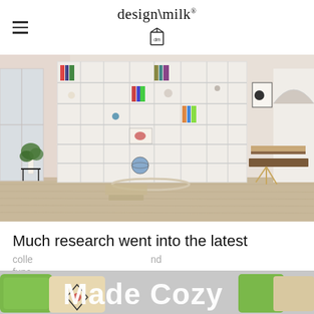design\milk (logo with milk carton icon)
[Figure (photo): Interior room photo featuring a large white modular shelving unit filled with books, decorative objects, and art. A plant sits to the left on a black metal stand. A bench with folded textiles is visible to the right. Hardwood floors, white walls with an arched doorway.]
Much research went into the latest
colle                                                  nd func
[Figure (photo): Partial bottom strip showing colorful decorative pillows (green, beige with geometric pattern) overlaid with large bold white text reading 'Made Cozy']